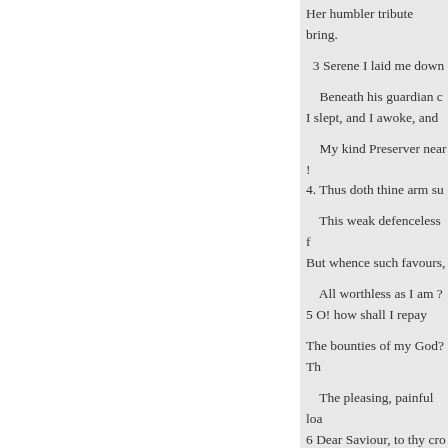Her humbler tribute bring.
3 Serene I laid me down
Beneath his guardian c[are]
I slept, and I awoke, and [saw]
My kind Preserver near !
4. Thus doth thine arm su[pport]
This weak defenceless f[orm]
But whence such favours, [Lord,]
All worthless as I am ?
5 O! how shall I repay
The bounties of my God? Th[e]
The pleasing, painful loa[d]
6 Dear Saviour, to thy cro[ss]
I bring my sacrifice;
Cleans'd by thy blood, it s[hall]
With fragrance to the ski[es]
7 My life I would anew